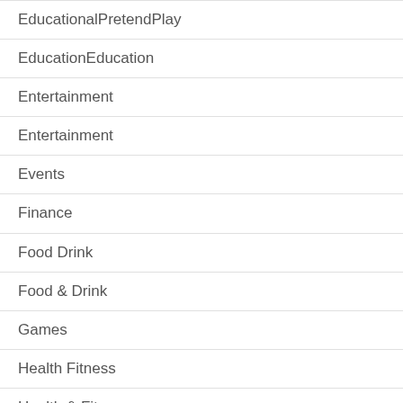EducationalPretendPlay
EducationEducation
Entertainment
Entertainment
Events
Finance
Food Drink
Food & Drink
Games
Health Fitness
Health & Fitness
House Home
House & Home